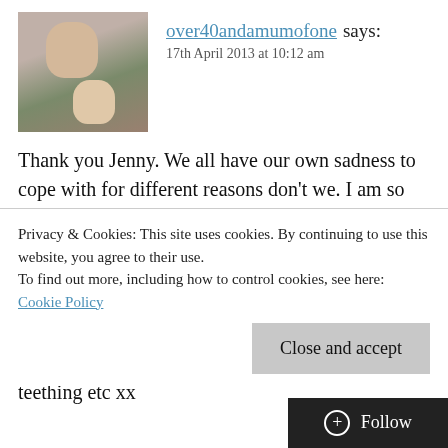[Figure (photo): Avatar photo of two people, an adult and a child, used as a blog comment profile picture.]
over40andamumofone says:
17th April 2013 at 10:12 am
Thank you Jenny. We all have our own sadness to cope with for different reasons don't we. I am so thankful to have Monkey, I can't imagine my life without him, although what I would give for a Sunday lazy paper reading day!!! It wasn't meant to be for me, I get my baby cuddles from my NCT groups second generation kiddies and at least I know I've done with nappies, potty training, teething etc xx
Privacy & Cookies: This site uses cookies. By continuing to use this website, you agree to their use.
To find out more, including how to control cookies, see here: Cookie Policy
Close and accept
Follow